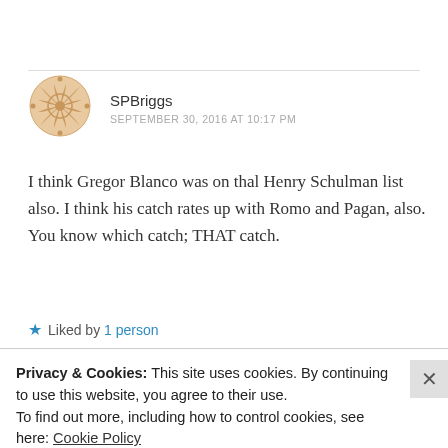[Figure (illustration): Decorative circular avatar icon with geometric quatrefoil/cross pattern in light orange/tan color]
SPBriggs
SEPTEMBER 30, 2016 AT 10:17 PM
I think Gregor Blanco was on thal Henry Schulman list also. I think his catch rates up with Romo and Pagan, also. You know which catch; THAT catch.
★ Liked by 1 person
Privacy & Cookies: This site uses cookies. By continuing to use this website, you agree to their use.
To find out more, including how to control cookies, see here: Cookie Policy
Close and accept